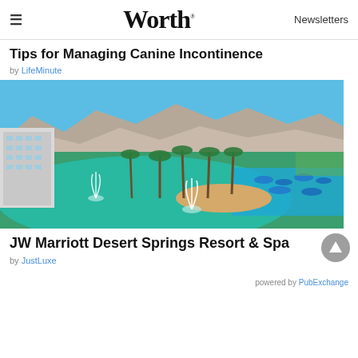≡  Worth  Newsletters
Tips for Managing Canine Incontinence
by LifeMinute
[Figure (photo): Aerial view of JW Marriott Desert Springs Resort & Spa showing large turquoise lagoon with fountains, hotel building on left, palm trees, pool area with blue umbrellas, and desert mountains in background under blue sky.]
JW Marriott Desert Springs Resort & Spa
by JustLuxe
powered by PubExchange